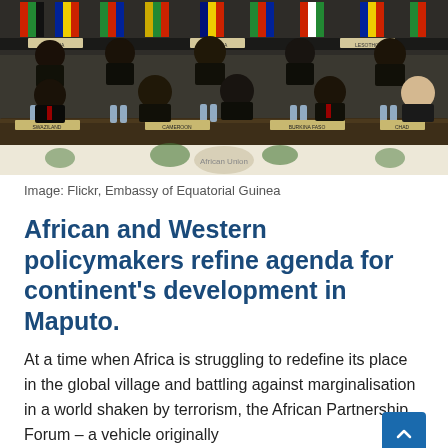[Figure (photo): A conference room scene showing African leaders and policymakers seated at a long formal conference table with nameplates including Zambia, Namibia, Lesotho, Liberia, Cameroon, Ghana, Chad, Congo and others. Flags are visible in the background.]
Image: Flickr, Embassy of Equatorial Guinea
African and Western policymakers refine agenda for continent's development in Maputo.
At a time when Africa is struggling to redefine its place in the global village and battling against marginalisation in a world shaken by terrorism, the African Partnership Forum – a vehicle originally